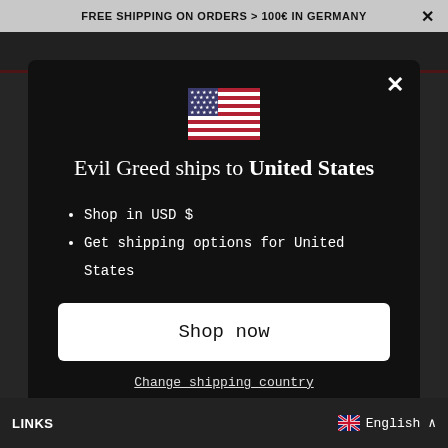FREE SHIPPING ON ORDERS > 100€ IN GERMANY
[Figure (illustration): US flag emoji displayed in center of modal]
Evil Greed ships to United States
Shop in USD $
Get shipping options for United States
Shop now
Change shipping country
LINKS
English